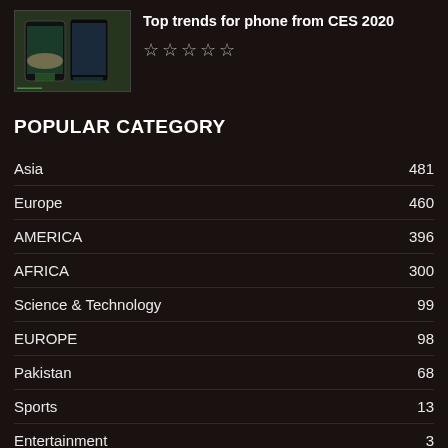[Figure (photo): Thumbnail image of a phone/device being held, related to CES 2020 trends video]
Top trends for phone from CES 2020
★ ★ ★ ★ ★
POPULAR CATEGORY
Asia  481
Europe  460
AMERICA  396
AFRICA  300
Science & Technology  99
EUROPE  98
Pakistan  68
Sports  13
Entertainment  3